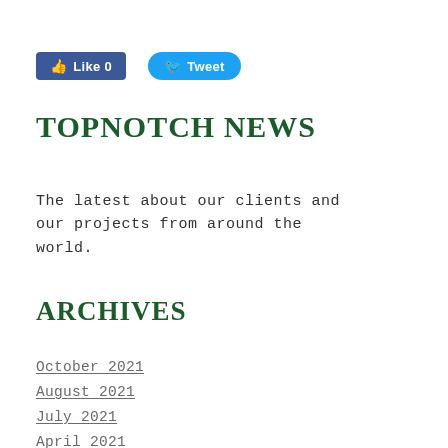[Figure (other): Facebook Like button showing '0' likes and Twitter Tweet button]
TOPNOTCH NEWS
The latest about our clients and our projects from around the world.
ARCHIVES
October 2021
August 2021
July 2021
April 2021
February 2021
January 2021
December 2020
October 2020